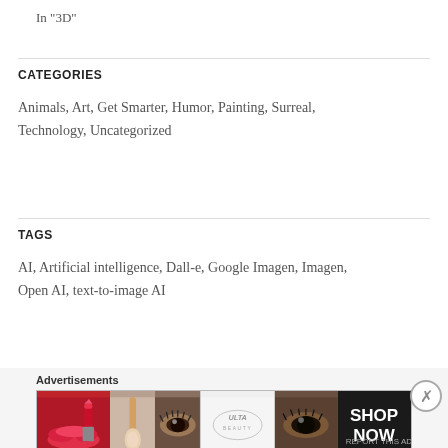In "3D"
CATEGORIES
Animals, Art, Get Smarter, Humor, Painting, Surreal, Technology, Uncategorized
TAGS
AI, Artificial intelligence, Dall-e, Google Imagen, Imagen, Open AI, text-to-image AI
Advertisements
[Figure (photo): Beauty/makeup advertisement banner showing lipstick, makeup brushes, eye makeup, ULTA beauty logo, close-up eye photography, and SHOP NOW text]